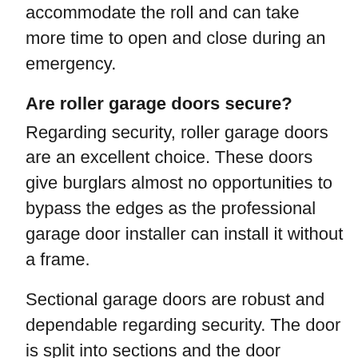doors is that they require a lot of headroom to accommodate the roll and can take more time to open and close during an emergency.
Are roller garage doors secure?
Regarding security, roller garage doors are an excellent choice. These doors give burglars almost no opportunities to bypass the edges as the professional garage door installer can install it without a frame.
Sectional garage doors are robust and dependable regarding security. The door is split into sections and the door collapses once more into the roof of a carport along with the frame.
Sectional doors offer better security because they don't provide obvious points of attack. So, a sectional garage door is perfect for homeowners looking for a more robust...